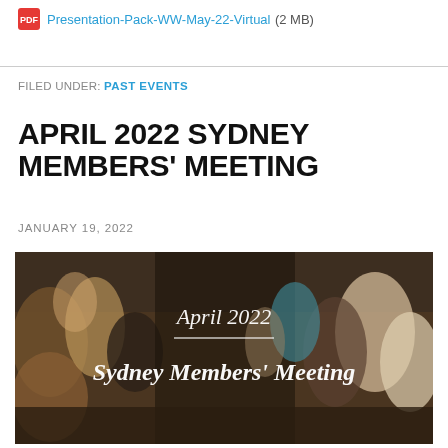Presentation-Pack-WW-May-22-Virtual (2 MB)
FILED UNDER: PAST EVENTS
APRIL 2022 SYDNEY MEMBERS' MEETING
JANUARY 19, 2022
[Figure (photo): Group photo of women at a meeting event with overlay text reading 'April 2022 / Sydney Members' Meeting']